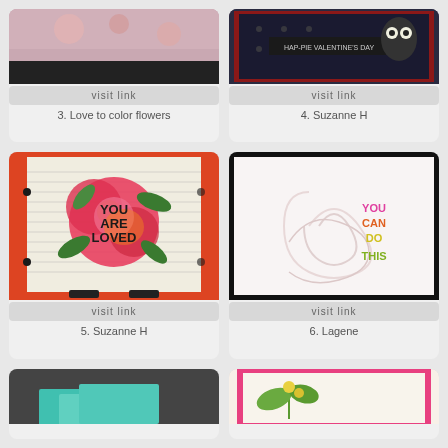[Figure (photo): Handmade card with floral design, pink and green flowers on patterned background]
visit link
3. Love to color flowers
[Figure (photo): Valentine's Day card with dark polka dot background and text HAP-PIE VALENTINE'S DAY]
visit link
4. Suzanne H
[Figure (photo): Handmade card with large red rose and YOU ARE LOVED text on orange background]
visit link
5. Suzanne H
[Figure (photo): Card with swirl embossed background and colorful text YOU CAN DO THIS]
visit link
6. Lagene
[Figure (photo): Card with dark gray background and teal/mint colored cards partially visible]
[Figure (photo): Card with pink border and floral design with green stems]